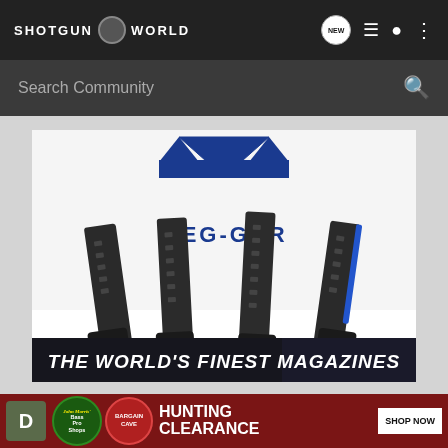SHOTGUN WORLD
Search Community
[Figure (advertisement): Mec-Gar advertisement showing four pistol magazines standing upright with the Mec-Gar logo (mountain/M shape in blue) above them, and a dark banner below reading THE WORLD'S FINEST MAGAZINES]
[Figure (advertisement): Bass Pro Shops Hunting Clearance Bargain Cave advertisement with red background, Bass Pro Shops oval logo, Bargain Cave circle logo, text HUNTING CLEARANCE, and SHOP NOW button]